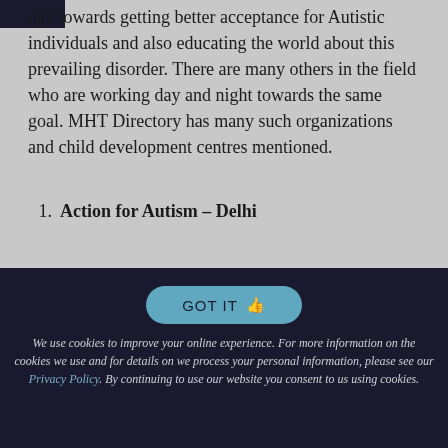day towards getting better acceptance for Autistic individuals and also educating the world about this prevailing disorder. There are many others in the field who are working day and night towards the same goal. MHT Directory has many such organizations and child development centres mentioned.
Action for Autism – Delhi
GOT IT
We use cookies to improve your online experience. For more information on the cookies we use and for details on we process your personal information, please see our Privacy Policy. By continuing to use our website you consent to us using cookies.